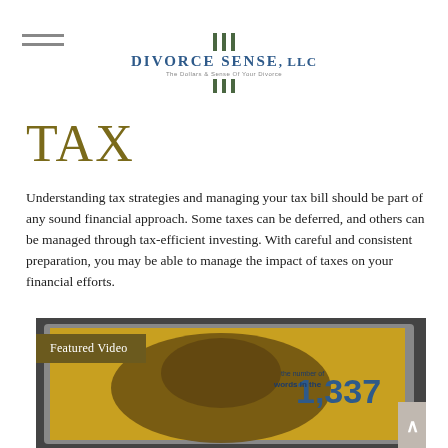Divorce Sense, LLC — The Dollars & Sense Of Your Divorce
TAX
Understanding tax strategies and managing your tax bill should be part of any sound financial approach. Some taxes can be deferred, and others can be managed through tax-efficient investing. With careful and consistent preparation, you may be able to manage the impact of taxes on your financial efforts.
[Figure (screenshot): Featured Video thumbnail showing a tablet device displaying a yellow/gold screen with the number 1,337 and decorative historical imagery with text 'the number of words in the']